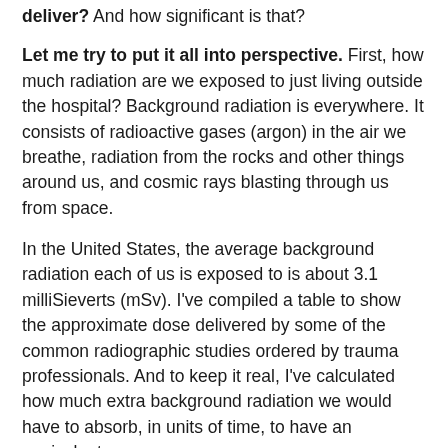deliver? And how significant is that?
Let me try to put it all into perspective. First, how much radiation are we exposed to just living outside the hospital? Background radiation is everywhere. It consists of radioactive gases (argon) in the air we breathe, radiation from the rocks and other things around us, and cosmic rays blasting through us from space.
In the United States, the average background radiation each of us is exposed to is about 3.1 milliSieverts (mSv). I've compiled a table to show the approximate dose delivered by some of the common radiographic studies ordered by trauma professionals. And to keep it real, I've calculated how much extra background radiation we would have to absorb, in units of time, to have an equivalent exposure.
Read and enjoy! Remember, doses may vary by scanner, settings, and by population, among other things.